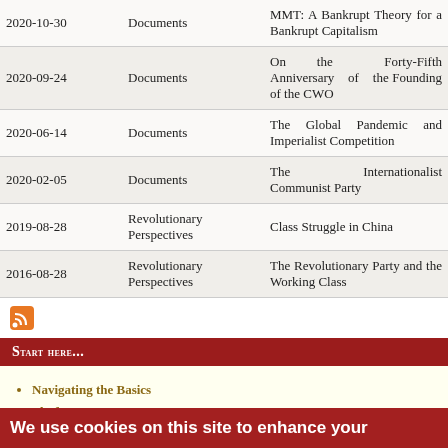| Date | Category | Title |
| --- | --- | --- |
| 2020-10-30 | Documents | MMT: A Bankrupt Theory for a Bankrupt Capitalism |
| 2020-09-24 | Documents | On the Forty-Fifth Anniversary of the Founding of the CWO |
| 2020-06-14 | Documents | The Global Pandemic and Imperialist Competition |
| 2020-02-05 | Documents | The Internationalist Communist Party |
| 2019-08-28 | Revolutionary Perspectives | Class Struggle in China |
| 2016-08-28 | Revolutionary Perspectives | The Revolutionary Party and the Working Class |
[Figure (other): RSS feed icon]
Start here...
Navigating the Basics
Platform
For Communism
We use cookies on this site to enhance your